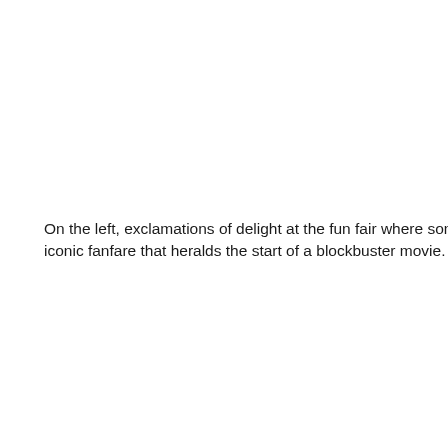On the left, exclamations of delight at the fun fair where someone has iconic fanfare that heralds the start of a blockbuster movie.